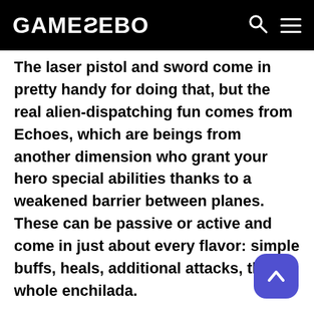GAMEZEBO
The laser pistol and sword come in pretty handy for doing that, but the real alien-dispatching fun comes from Echoes, which are beings from another dimension who grant your hero special abilities thanks to a weakened barrier between planes. These can be passive or active and come in just about every flavor: simple buffs, heals, additional attacks, the whole enchilada.